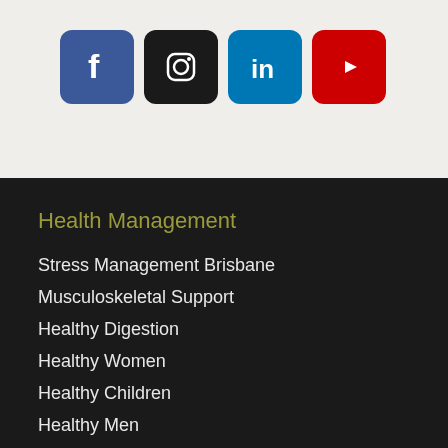[Figure (infographic): Four social media icon buttons in a row: Facebook (blue), Instagram (black/dark), LinkedIn (blue), YouTube (red)]
Health Management
Stress Management Brisbane
Musculoskeletal Support
Healthy Digestion
Healthy Women
Healthy Children
Healthy Men